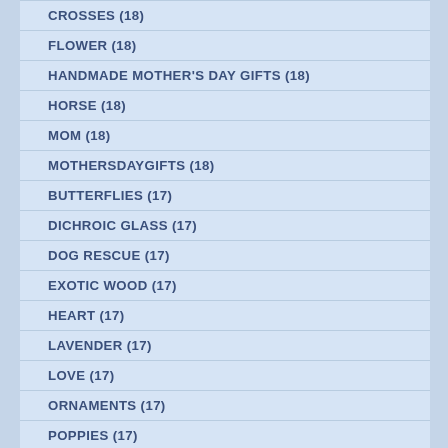CROSSES (18)
FLOWER (18)
HANDMADE MOTHER'S DAY GIFTS (18)
HORSE (18)
MOM (18)
MOTHERSDAYGIFTS (18)
BUTTERFLIES (17)
DICHROIC GLASS (17)
DOG RESCUE (17)
EXOTIC WOOD (17)
HEART (17)
LAVENDER (17)
LOVE (17)
ORNAMENTS (17)
POPPIES (17)
PUZZLE (17)
CHRISTMAS IN JULY (16)
DOILY (16)